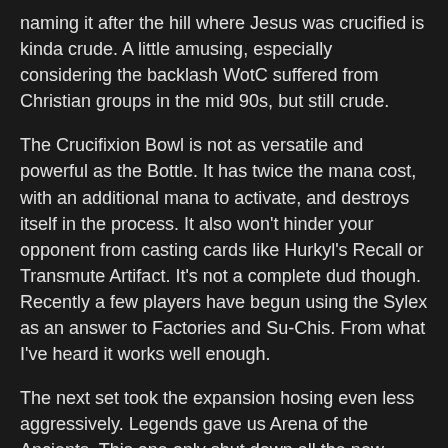naming it after the hill where Jesus was crucified is kinda crude. A little amusing, especially considering the backlash WotC suffered from Christian groups in the mid 90s, but still crude.
The Crucifixion Bowl is not as versatile and powerful as the Bottle. It has twice the mana cost, with an additional mana to activate, and destroys itself in the process. It also won't hinder your opponent from casting cards like Hurkyl's Recall or Transmute Artifact. It's not a complete dud though. Recently a few players have begun using the Sylex as an answer to Factories and Su-Chis. From what I've heard it works well enough.
The next set took the expansion hosing even less aggressively. Legends gave us Arena of the Ancients. This one only shut down all the new multicolored creatures introduced in the set and left the other cards alone.
[Figure (illustration): Bottom portion of a Magic: The Gathering card titled 'Arena of the Ancients' with a mana cost of 3, shown with a tan/brown card frame background.]